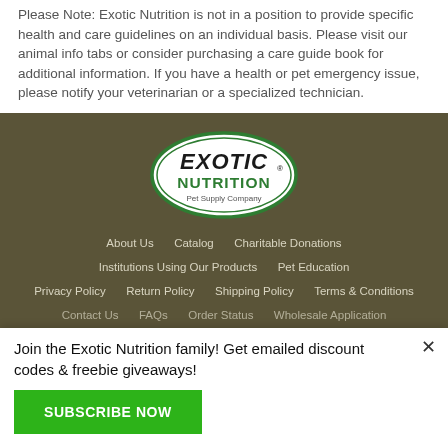Please Note: Exotic Nutrition is not in a position to provide specific health and care guidelines on an individual basis. Please visit our animal info tabs or consider purchasing a care guide book for additional information. If you have a health or pet emergency issue, please notify your veterinarian or a specialized technician.
[Figure (logo): Exotic Nutrition Pet Supply Company oval logo with green border, black bold EXOTIC NUTRITION text, and smaller Pet Supply Company text]
About Us   Catalog   Charitable Donations
Institutions Using Our Products   Pet Education
Privacy Policy   Return Policy   Shipping Policy   Terms & Conditions
Contact Us   FAQs   Order Status   Wholesale Application
Join the Exotic Nutrition family! Get emailed discount codes & freebie giveaways!
SUBSCRIBE NOW